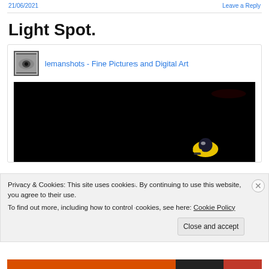Leave a Reply
Light Spot.
[Figure (screenshot): Embedded social card from lemanshots - Fine Pictures and Digital Art, showing a dark/black photograph with a small yellow and black object (possibly an insect) in the lower right area.]
Privacy & Cookies: This site uses cookies. By continuing to use this website, you agree to their use.
To find out more, including how to control cookies, see here: Cookie Policy